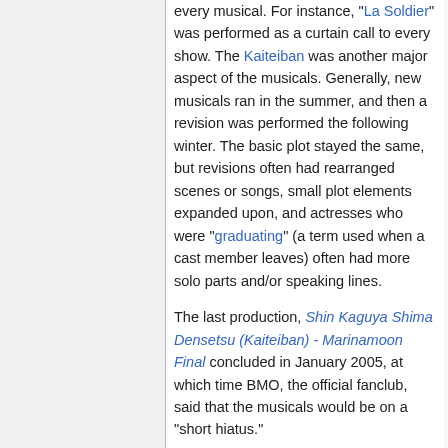every musical. For instance, "La Soldier" was performed as a curtain call to every show. The Kaiteiban was another major aspect of the musicals. Generally, new musicals ran in the summer, and then a revision was performed the following winter. The basic plot stayed the same, but revisions often had rearranged scenes or songs, small plot elements expanded upon, and actresses who were "graduating" (a term used when a cast member leaves) often had more solo parts and/or speaking lines.
The last production, Shin Kaguya Shima Densetsu (Kaiteiban) - Marinamoon Final concluded in January 2005, at which time BMO, the official fanclub, said that the musicals would be on a "short hiatus."